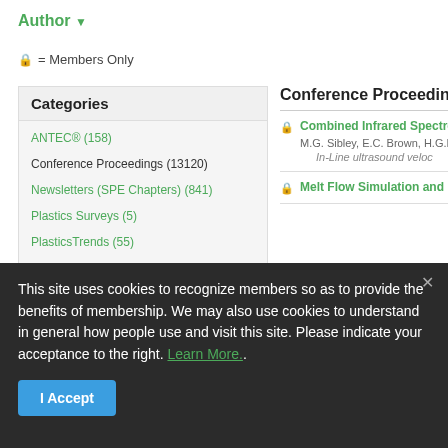Author ▼
🔒 = Members Only
| Categories |
| --- |
| ANTEC® (158) |
| Conference Proceedings (13120) |
| Newsletters (SPE Chapters) (841) |
| Plastics Surveys (5) |
| PlasticsTrends (55) |
| Technical Article Briefs (838) |
Conference Proceedings
Combined Infrared Spectro... M.G. Sibley, E.C. Brown, H.G.M... In-Line ultrasound veloc...
Melt Flow Simulation and M...
This site uses cookies to recognize members so as to provide the benefits of membership. We may also use cookies to understand in general how people use and visit this site. Please indicate your acceptance to the right. Learn More..
I Accept